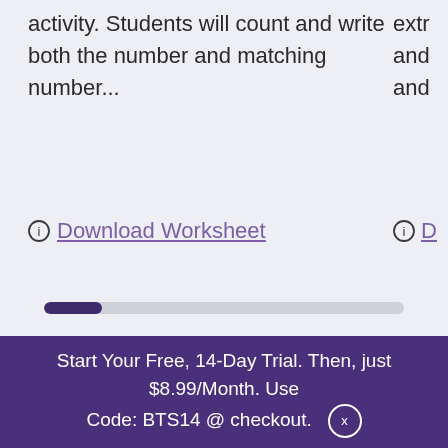activity. Students will count and write both the number and matching number...
Download Worksheet
[Figure (other): A horizontal progress bar, partially filled (about 1/6 filled) with dark purple, rest light gray]
Start Your Free, 14-Day Trial. Then, just $8.99/Month. Use Code: BTS14 @ checkout.  X